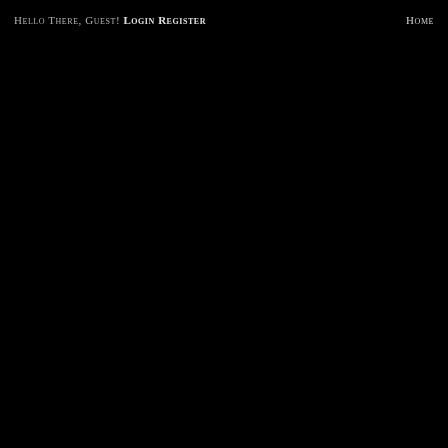Hello There, Guest! Login Register   Home